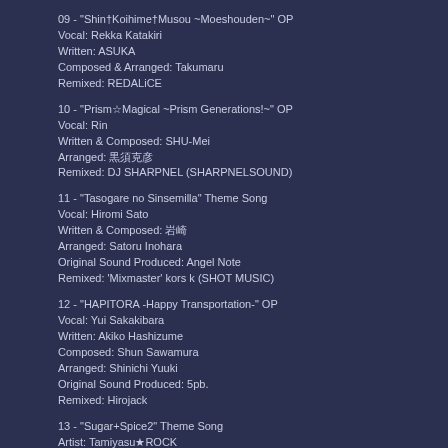09 - "Shin†Koihime†Musou ~Moeshouden~" OP
Vocal: Rekka Katakiri
Written: ASUKA
Composed & Arranged: Takumaru
Remixed: REDALiCE
10 - "Prism☆Magical ~Prism Generations!~" OP
Vocal: Rin
Written & Composed: SHU-Mei
Arranged: 黒須克彦
Remixed: DJ SHARPNEL (SHARPNELSOUND)
11 - "Tasogare no Sinsemilla" Theme Song
Vocal: Hiromi Sato
Written & Composed: 岩崎
Arranged: Satoru Inohara
Original Sound Produced: Angel Note
Remixed: 'Mixmaster' kors k (SHOT MUSIC)
12 - "HAPITORA -Happy Transportation-" OP
Vocal: Yui Sakakibara
Written: Akiko Hashizume
Composed: Shun Sawamura
Arranged: Shinichi Yuuki
Original Sound Produced: 5pb.
Remixed: Hirojack
13 - "Sugar+Spice2" Theme Song
Artist: Tamiyasu★ROCK
Vocal: Tomoe Tamiyasu
Written, Composed & Arranged: Kensei (Silver Seats studio)
Original Sound Produced: Silver Seats studio / Tamiyasu★ROCK
Remixed: DJ SHARPNEL (SHARPNELSOUND)
Produced / A&R: Y. Seino (SiDE CONNECTION Inc.)